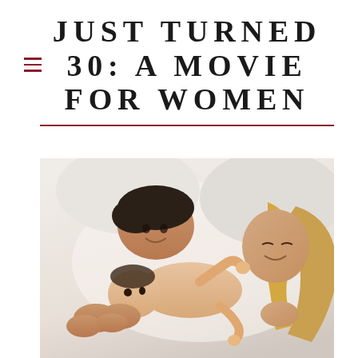JUST TURNED 30: A MOVIE FOR WOMEN
[Figure (photo): A man and a woman leaning over a newborn baby, smiling warmly. The baby is lying on its back with arms and legs slightly raised. Warm, soft lighting with a light background.]